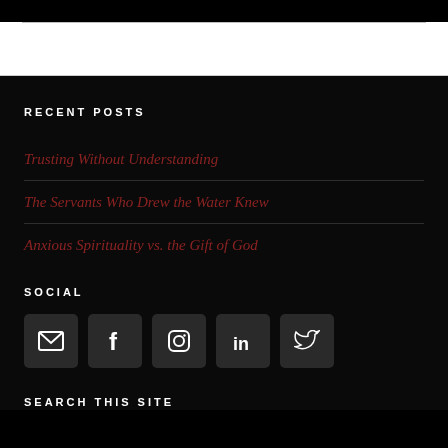RECENT POSTS
Trusting Without Understanding
The Servants Who Drew the Water Knew
Anxious Spirituality vs. the Gift of God
SOCIAL
[Figure (infographic): Row of 5 social media icon buttons (email, Facebook, Instagram, LinkedIn, Twitter) on dark background]
SEARCH THIS SITE